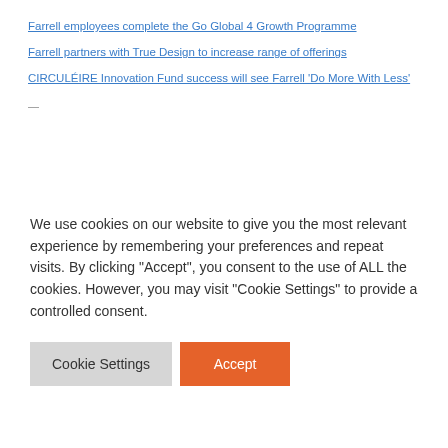Farrell employees complete the Go Global 4 Growth Programme
Farrell partners with True Design to increase range of offerings
CIRCULÉIRE Innovation Fund success will see Farrell 'Do More With Less'
— [partial text cut off]
We use cookies on our website to give you the most relevant experience by remembering your preferences and repeat visits. By clicking "Accept", you consent to the use of ALL the cookies. However, you may visit "Cookie Settings" to provide a controlled consent.
Cookie Settings | Accept